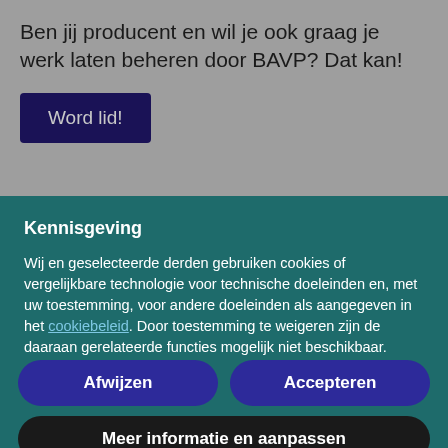Ben jij producent en wil je ook graag je werk laten beheren door BAVP? Dat kan!
Word lid!
Kennisgeving
Wij en geselecteerde derden gebruiken cookies of vergelijkbare technologie voor technische doeleinden en, met uw toestemming, voor andere doeleinden als aangegeven in het cookiebeleid. Door toestemming te weigeren zijn de daaraan gerelateerde functies mogelijk niet beschikbaar.
Gebruik de knop "Accepteren" om toestemming te geven voor het gebruik van deze technologie. Gebruik de knop "Afwijzen" om door te gaan zonder te accepteren.
Afwijzen
Accepteren
Meer informatie en aanpassen